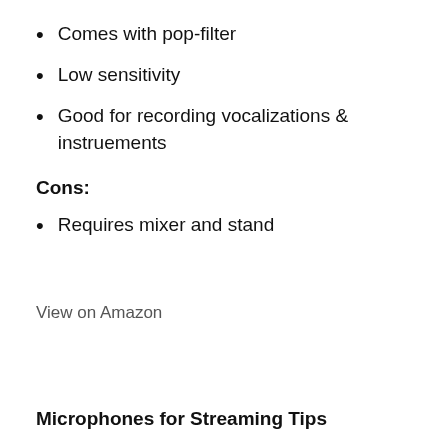Comes with pop-filter
Low sensitivity
Good for recording vocalizations & instruements
Cons:
Requires mixer and stand
View on Amazon
Microphones for Streaming Tips